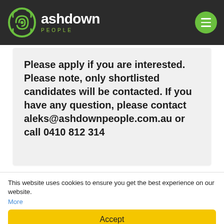ashdown PEOPLE
Please apply if you are interested. Please note, only shortlisted candidates will be contacted. If you have any question, please contact aleks@ashdownpeople.com.au or call 0410 812 314
[Figure (logo): Google icon with green G logo and text 'Ashdown Google Reviews!']
This website uses cookies to ensure you get the best experience on our website. More
Accept